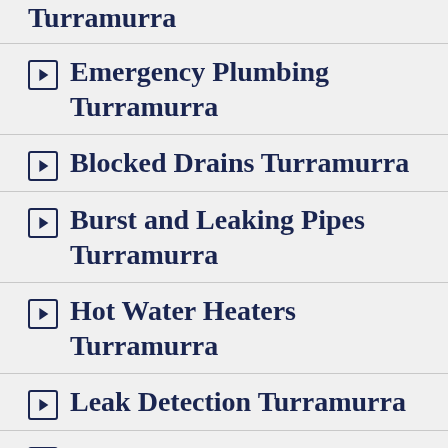Turramurra
Emergency Plumbing Turramurra
Blocked Drains Turramurra
Burst and Leaking Pipes Turramurra
Hot Water Heaters Turramurra
Leak Detection Turramurra
Dripping Taps Turramurra
Pipe Relining Turramurra